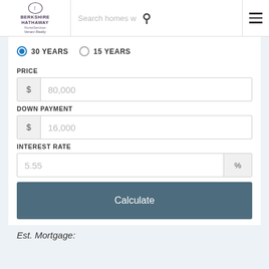Berkshire Hathaway HomeServices Verani Realty | Search homes | Menu
30 YEARS   15 YEARS
PRICE
$ 80,000
DOWN PAYMENT
$ 16,000
INTEREST RATE
5.55 %
Calculate
Est. Mortgage: